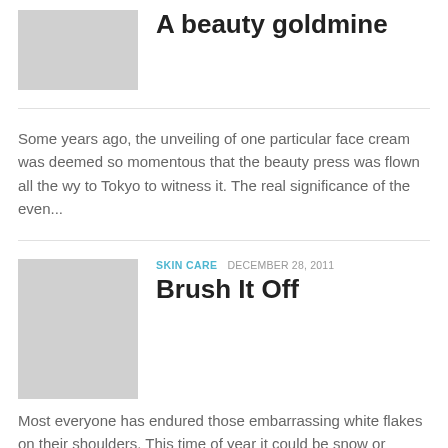A beauty goldmine
Some years ago, the unveiling of one particular face cream was deemed so momentous that the beauty press was flown all the wy to Tokyo to witness it. The real significance of the even...
SKIN CARE   DECEMBER 28, 2011
Brush It Off
Most everyone has endured those embarrassing white flakes on their shoulders. This time of year it could be snow or dandruff — a seasonal condition most common in cold weather. Warning signs of the...
SUN EXPOSURE AND SUN PROTECTION
DECEMBER 6, 2011